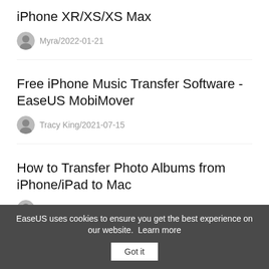iPhone XR/XS/XS Max
Myra/2022-01-21
Free iPhone Music Transfer Software - EaseUS MobiMover
Tracy King/2021-07-15
How to Transfer Photo Albums from iPhone/iPad to Mac
Myra/2020-12-11
EaseUS uses cookies to ensure you get the best experience on our website. Learn more  Got it